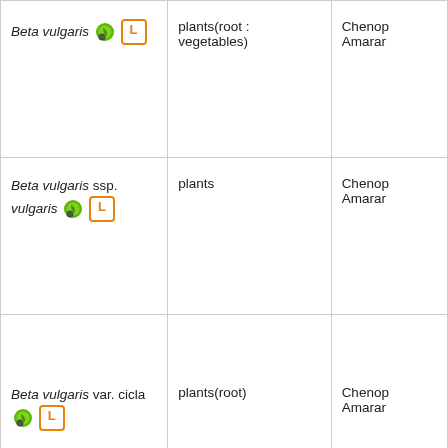| Species | Description | Family |
| --- | --- | --- |
| Beta vulgaris [icons] | plants(root : vegetables) | Chenop... Amarar... |
| Beta vulgaris ssp. vulgaris [icons] | plants | Chenop... Amarar... |
| Beta vulgaris var. cicla [icons] | plants(root) | Chenop... Amarar... |